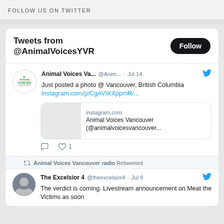FOLLOW US ON TWITTER
Tweets from @AnimalVoicesYVR
Animal Voices Va... @Anim... · Jul 14
Just posted a photo @ Vancouver, British Columbia instagram.com/p/CgAVIXXppmR/...
instagram.com
Animal Voices Vancouver (@animalvoicesvancouver...
1
Animal Voices Vancouver radio Retweeted
The Excelsior 4 @theexcelsior4 · Jul 9
The verdict is coming. Livestream announcement on Meat the Victims as soon